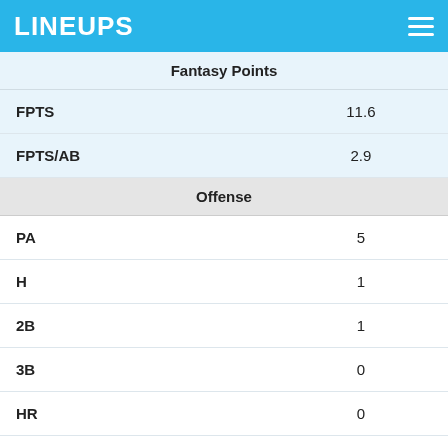LINEUPS
| Stat | Value |
| --- | --- |
| Fantasy Points |  |
| FPTS | 11.6 |
| FPTS/AB | 2.9 |
| Offense |  |
| PA | 5 |
| H | 1 |
| 2B | 1 |
| 3B | 0 |
| HR | 0 |
| R | 1 |
| RBI | 1 |
| SB | 0 |
| CS | 0 |